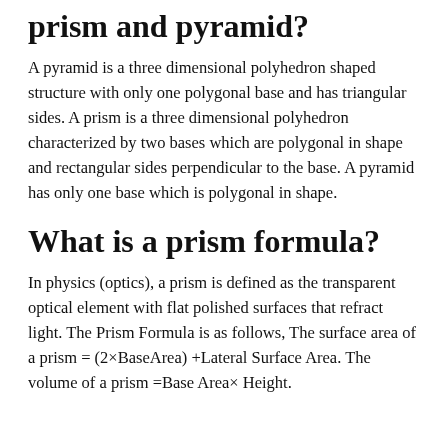prism and pyramid?
A pyramid is a three dimensional polyhedron shaped structure with only one polygonal base and has triangular sides. A prism is a three dimensional polyhedron characterized by two bases which are polygonal in shape and rectangular sides perpendicular to the base. A pyramid has only one base which is polygonal in shape.
What is a prism formula?
In physics (optics), a prism is defined as the transparent optical element with flat polished surfaces that refract light. The Prism Formula is as follows, The surface area of a prism = (2×BaseArea) +Lateral Surface Area. The volume of a prism =Base Area× Height.